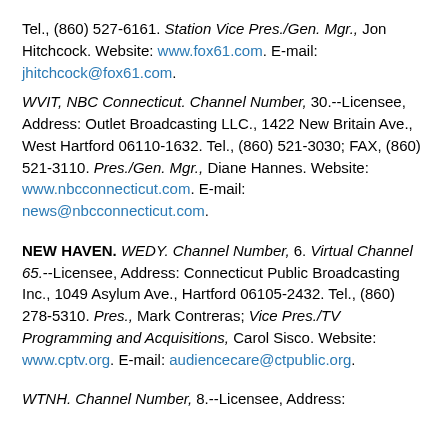Tel., (860) 527-6161. Station Vice Pres./Gen. Mgr., Jon Hitchcock. Website: www.fox61.com. E-mail: jhitchcock@fox61.com.
WVIT, NBC Connecticut. Channel Number, 30.--Licensee, Address: Outlet Broadcasting LLC., 1422 New Britain Ave., West Hartford 06110-1632. Tel., (860) 521-3030; FAX, (860) 521-3110. Pres./Gen. Mgr., Diane Hannes. Website: www.nbcconnecticut.com. E-mail: news@nbcconnecticut.com.
NEW HAVEN. WEDY. Channel Number, 6. Virtual Channel 65.--Licensee, Address: Connecticut Public Broadcasting Inc., 1049 Asylum Ave., Hartford 06105-2432. Tel., (860) 278-5310. Pres., Mark Contreras; Vice Pres./TV Programming and Acquisitions, Carol Sisco. Website: www.cptv.org. E-mail: audiencecare@ctpublic.org.
WTNH. Channel Number, 8.--Licensee, Address: